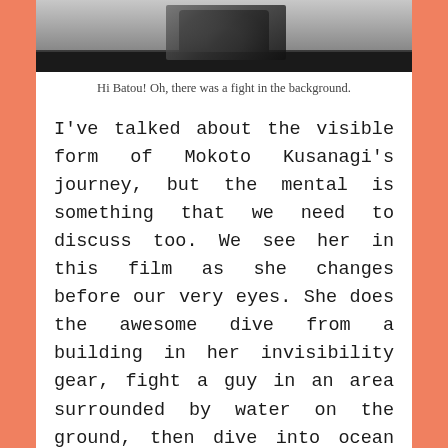[Figure (photo): A person in dark clothing, partially visible at the top of the frame, with a grey/dark background suggesting an indoor or urban setting.]
Hi Batou! Oh, there was a fight in the background.
I've talked about the visible form of Mokoto Kusanagi's journey, but the mental is something that we need to discuss too. We see her in this film as she changes before our very eyes. She does the awesome dive from a building in her invisibility gear, fight a guy in an area surrounded by water on the ground, then dive into ocean with her survival gear. It's a very gradual change. The major faces her final transformation when the city is covered with a blue light. Like she is diving into the water without any safety gear. When she fights a tank in which she releases